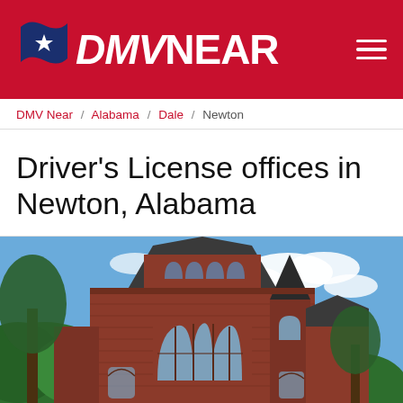DMV NEAR
DMV Near / Alabama / Dale / Newton
Driver's License offices in Newton, Alabama
[Figure (photo): Exterior photograph of a red-brick historic building with Gothic arched windows, a turret, and large trees in the foreground against a blue sky with clouds — representing Alabama.]